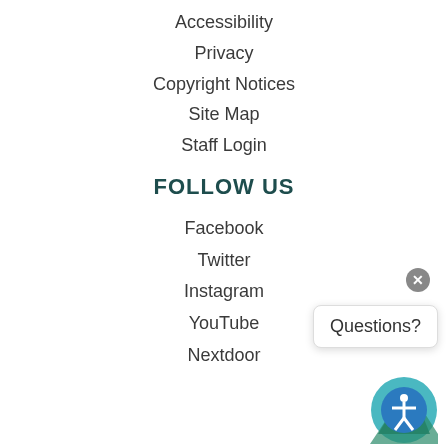Accessibility
Privacy
Copyright Notices
Site Map
Staff Login
FOLLOW US
Facebook
Twitter
Instagram
YouTube
Nextdoor
Questions?
[Figure (logo): Accessibility icon with blue mountain and person symbol]